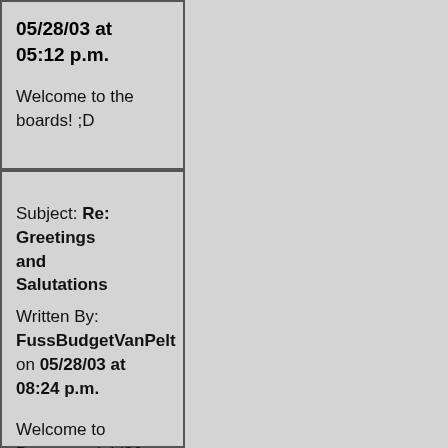05/28/03 at 05:12 p.m.
Welcome to the boards! ;D
Subject: Re: Greetings and Salutations
Written By: FussBudgetVanPelt on 05/28/03 at 08:24 p.m.
Welcome to Browneyedgirl80